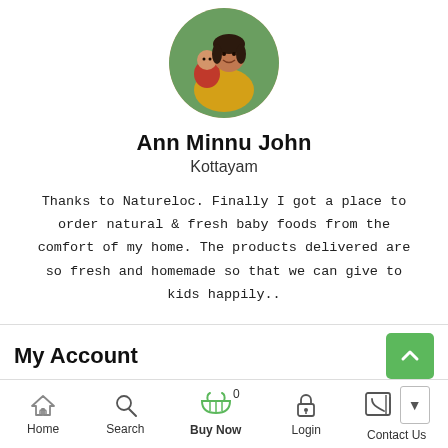[Figure (photo): Circular profile photo of a woman holding a child, outdoors]
Ann Minnu John
Kottayam
Thanks to Natureloc. Finally I got a place to order natural & fresh baby foods from the comfort of my home. The products delivered are so fresh and homemade so that we can give to kids happily..
My Account
Information
Home  Search  Buy Now  0  Login  Contact Us